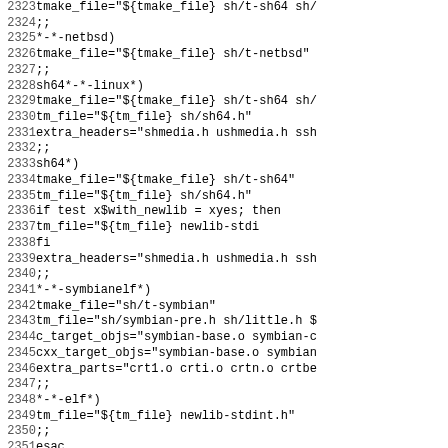Source code listing lines 2323-2354, shell script configuration code